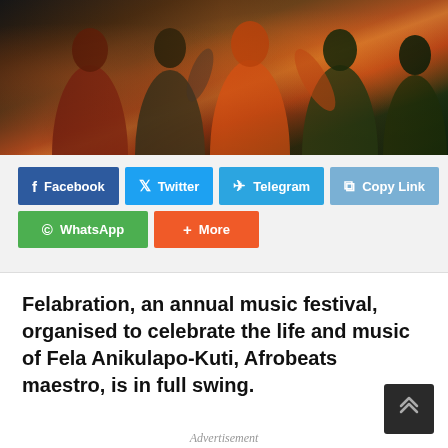[Figure (photo): A crowd of people at a music festival/concert, several individuals visible in the foreground, colorful clothing including red and green shirts, dark background with stage lighting.]
Facebook  Twitter  Telegram  Copy Link  WhatsApp  More (social share buttons)
Felabration, an annual music festival, organised to celebrate the life and music of Fela Anikulapo-Kuti, Afrobeats maestro, is in full swing.
Advertisement